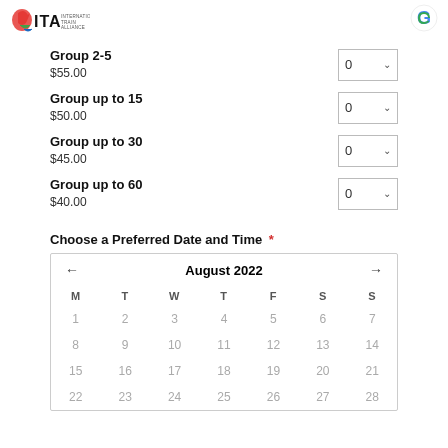ITA International Train Alliance | G
Group 2-5
$55.00
Group up to 15
$50.00
Group up to 30
$45.00
Group up to 60
$40.00
Choose a Preferred Date and Time *
| M | T | W | T | F | S | S |
| --- | --- | --- | --- | --- | --- | --- |
| 1 | 2 | 3 | 4 | 5 | 6 | 7 |
| 8 | 9 | 10 | 11 | 12 | 13 | 14 |
| 15 | 16 | 17 | 18 | 19 | 20 | 21 |
| 22 | 23 | 24 | 25 | 26 | 27 | 28 |